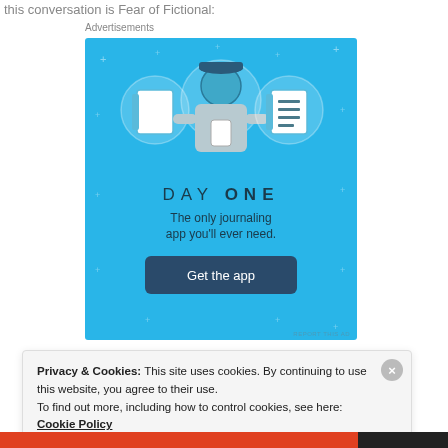this conversation is Fear of Fictional:
Advertisements
[Figure (illustration): Day One journaling app advertisement. Blue background with illustrated icons of a notebook, a person holding a phone, and a lined notebook. Text reads 'DAY ONE - The only journaling app you'll ever need.' with a 'Get the app' button.]
Privacy & Cookies: This site uses cookies. By continuing to use this website, you agree to their use.
To find out more, including how to control cookies, see here: Cookie Policy
Close and accept